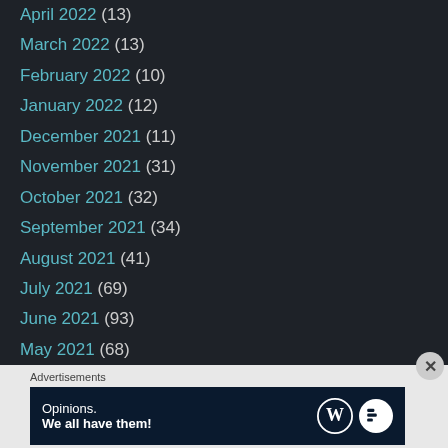April 2022 (13)
March 2022 (13)
February 2022 (10)
January 2022 (12)
December 2021 (11)
November 2021 (31)
October 2021 (32)
September 2021 (34)
August 2021 (41)
July 2021 (69)
June 2021 (93)
May 2021 (68)
April 2021 (83)
March 2021 (67)
February 2021 (77)
Advertisements
[Figure (infographic): WordPress advertisement banner with text 'Opinions. We all have them!' and WordPress and another logo on dark blue background]